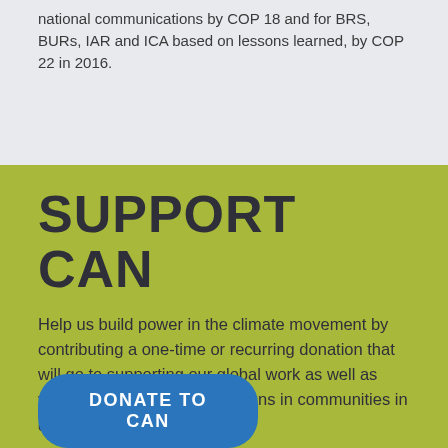national communications by COP 18 and for BRS, BURs, IAR and ICA based on lessons learned, by COP 22 in 2016.
SUPPORT CAN
Help us build power in the climate movement by contributing a one-time or recurring donation that will go to supporting our global work as well as various activities and campaigns in communities in different regions.
DONATE TO CAN